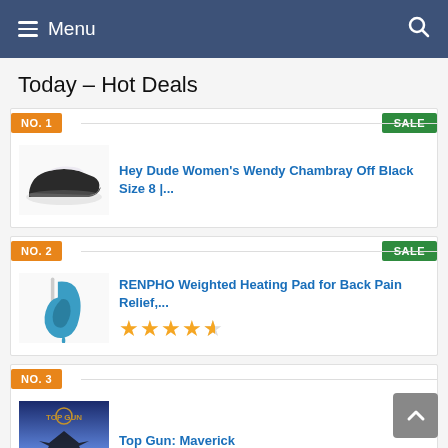Menu  (search icon)
Today – Hot Deals
NO. 1  SALE
Hey Dude Women's Wendy Chambray Off Black Size 8 |...
NO. 2  SALE
RENPHO Weighted Heating Pad for Back Pain Relief,...
4.5 stars rating
NO. 3
Top Gun: Maverick